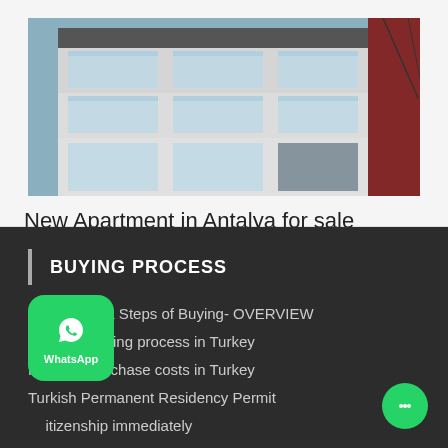[Figure (photo): Photo of a modern apartment building with glass balconies and white facade in Antalya]
New Apartment in Antalya for sale
ANTALYA
3  2
BUYING PROCESS
Assistance & Steps of Buying- OVERVIEW
Property buying process in Turkey
Property purchase costs in Turkey
Turkish Permanent Residency Permit
...itizenship immediately
Buy Under- Construction